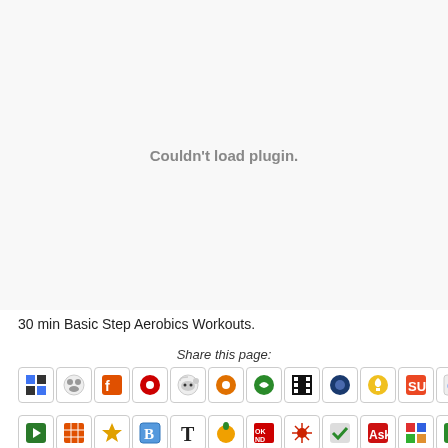[Figure (other): Plugin placeholder area showing 'Couldn't load plugin.' message]
30 min Basic Step Aerobics Workouts.
Share this page:
[Figure (infographic): Row 1 of social sharing icons including Delicious, Multiply, Flock, Digg, Reddit, TOFU, Turn, Filmstrip, Plum, Blogmarks, StumbleUpon, Google, and another icon]
[Figure (infographic): Row 2 of social sharing icons including various social bookmarking services]